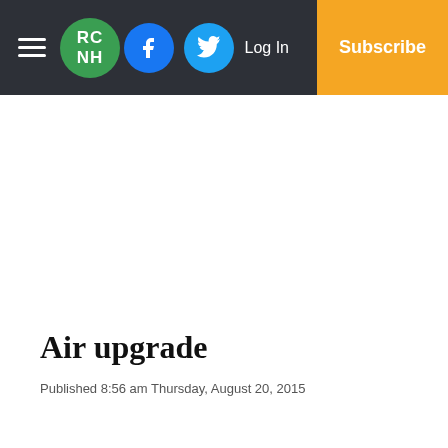RC NH — Facebook — Twitter — Log In — Subscribe
Air upgrade
Published 8:56 am Thursday, August 20, 2015